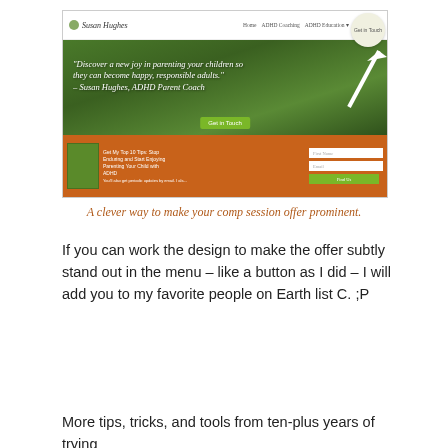[Figure (screenshot): Screenshot of Susan Hughes ADHD Parent Coach website showing navigation bar with 'Get in Touch' button highlighted by a white arrow, hero section with quote 'Discover a new joy in parenting your children so they can become happy, responsible adults. – Susan Hughes, ADHD Parent Coach', a green 'Get in Touch' button, and an orange signup section at the bottom.]
A clever way to make your comp session offer prominent.
If you can work the design to make the offer subtly stand out in the menu – like a button as I did – I will add you to my favorite people on Earth list C. ;P
More tips, tricks, and tools from ten-plus years of trying